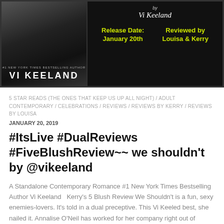[Figure (illustration): Book banner image for 'We Shouldn't' by Vi Keeland. Left side shows grayscale book cover with close-up face and hands, author name VI KEELAND at bottom. Right side on black background shows 'by Vi Keeland' in script, Release Date: January 20th in yellow-green bold text, and Reviewed by Louisa & Kerry in yellow-green bold text.]
5 STAR READS (THE ONES THAT KEEP US UP ALL NIGHT) / ADULT CONTEMPORARY / CELEBRATIONS / REVIEWS / REVIEWS BY KERRY / REVIEWS BY LOUISA
JANUARY 20, 2019
#ItsLive #DualReviews #FiveBlushReview~~ we shouldn't by @vikeeland
A Standalone Contemporary Romance #1 New York Times Bestselling Author Vi Keeland  Kerry's 5 Blush Review We Shouldn't is a fun, sexy enemies-lovers. It's told in a dual preceptive. This Vi Keeled best, she nailed it. Annalise O'Neil has worked for her company right out of college. So when she finds out they have merged with another company, her life is turned